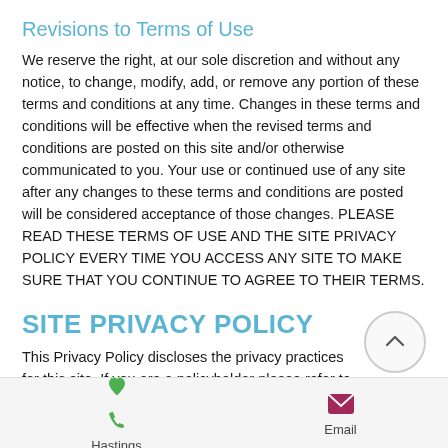Revisions to Terms of Use
We reserve the right, at our sole discretion and without any notice, to change, modify, add, or remove any portion of these terms and conditions at any time. Changes in these terms and conditions will be effective when the revised terms and conditions are posted on this site and/or otherwise communicated to you. Your use or continued use of any site after any changes to these terms and conditions are posted will be considered acceptance of those changes. PLEASE READ THESE TERMS OF USE AND THE SITE PRIVACY POLICY EVERY TIME YOU ACCESS ANY SITE TO MAKE SURE THAT YOU CONTINUE TO AGREE TO THEIR TERMS.
SITE PRIVACY POLICY
This Privacy Policy discloses the privacy practices for this site. If you are a policyholder please refer to the privacy rights of your
Hastings   Email